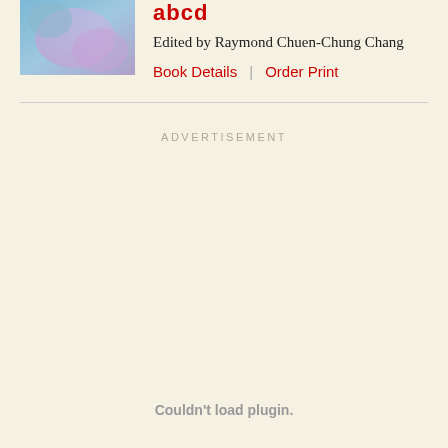[Figure (photo): Book cover image with blue and purple abstract colors]
abcd
Edited by Raymond Chuen-Chung Chang
Book Details | Order Print
ADVERTISEMENT
Couldn't load plugin.